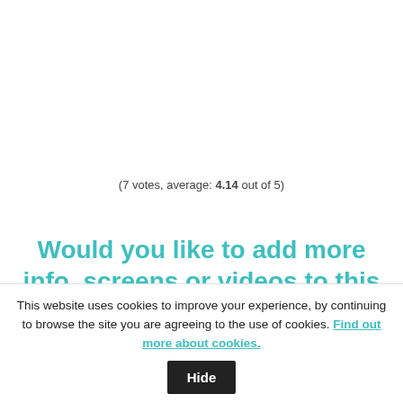(7 votes, average: 4.14 out of 5)
Would you like to add more info, screens or videos to this page? Add a comment below!
This website uses cookies to improve your experience, by continuing to browse the site you are agreeing to the use of cookies. Find out more about cookies. Hide